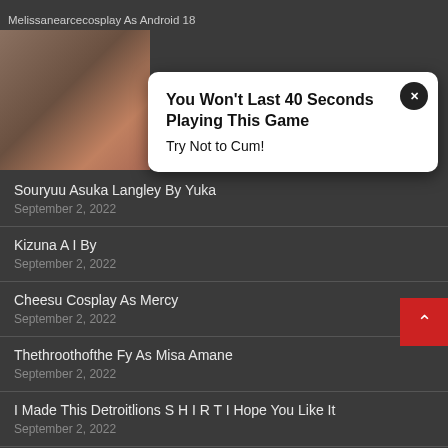Melissanearcecosplay As Android 18
[Figure (photo): Partial view of cosplay photo on left side, partially obscured by popup advertisement]
You Won't Last 40 Seconds Playing This Game
Try Not to Cum!
Souryuu Asuka Langley By Yuka
September 2, 2022
Kizuna A I By
September 2, 2022
Cheesu Cosplay As Mercy
September 2, 2022
Thethroothofthe Fy As Misa Amane
September 2, 2022
I Made This Detroitlions S H I R T I Hope You Like It
September 2, 2022